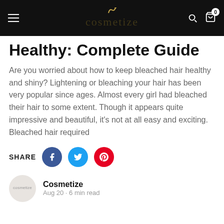Cosmetize navigation bar
Healthy: Complete Guide
Are you worried about how to keep bleached hair healthy and shiny? Lightening or bleaching your hair has been very popular since ages. Almost every girl had bleached their hair to some extent. Though it appears quite impressive and beautiful, it's not at all easy and exciting. Bleached hair required
SHARE
Cosmetize
Aug 20 · 6 min read